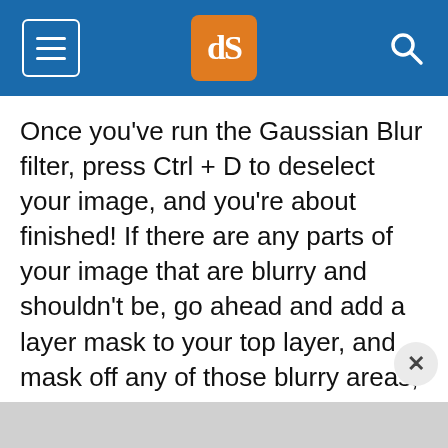dPS
Once you've run the Gaussian Blur filter, press Ctrl + D to deselect your image, and you're about finished! If there are any parts of your image that are blurry and shouldn't be, go ahead and add a layer mask to your top layer, and mask off any of those blurry areas, and then you're finished!